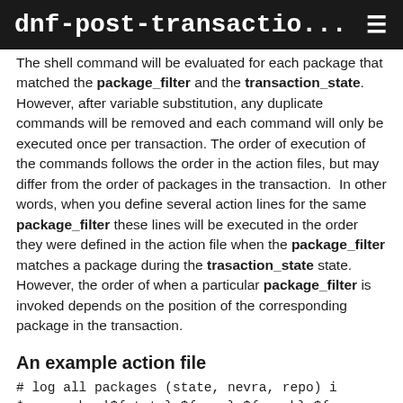dnf-post-transactio...
The shell command will be evaluated for each package that matched the package_filter and the transaction_state. However, after variable substitution, any duplicate commands will be removed and each command will only be executed once per transaction. The order of execution of the commands follows the order in the action files, but may differ from the order of packages in the transaction.  In other words, when you define several action lines for the same package_filter these lines will be executed in the order they were defined in the action file when the package_filter matches a package during the trasaction_state state. However, the order of when a particular package_filter is invoked depends on the position of the corresponding package in the transaction.
An example action file
# log all packages (state, nevra, repo) i
*:any:echo '${state} ${name}-${epoch}:${v